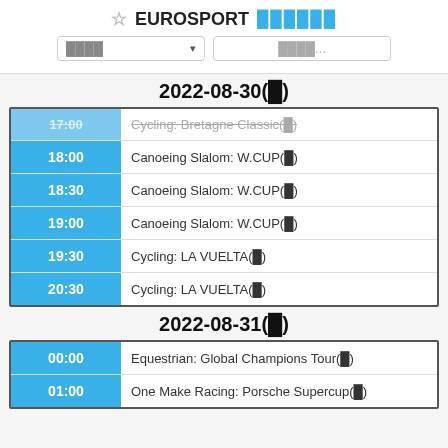☆ EUROSPORT ██████
2022-08-30(█)
| Time | Event |
| --- | --- |
| 17:00 | Cycling: Bretagne Classic(█) |
| 18:00 | Canoeing Slalom: W.CUP(█) |
| 18:30 | Canoeing Slalom: W.CUP(█) |
| 19:00 | Canoeing Slalom: W.CUP(█) |
| 19:30 | Cycling: LA VUELTA(█) |
| 20:30 | Cycling: LA VUELTA(█) |
2022-08-31(█)
| Time | Event |
| --- | --- |
| 00:00 | Equestrian: Global Champions Tour(█) |
| 01:00 | One Make Racing: Porsche Supercup(█) |